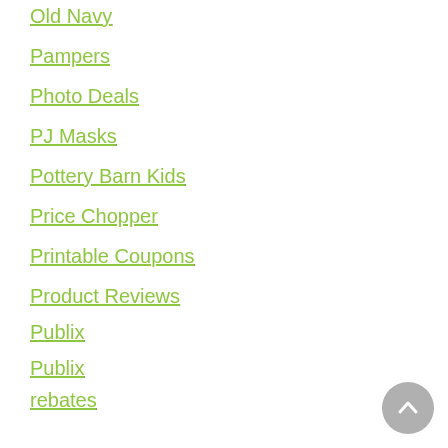Old Navy
Pampers
Photo Deals
PJ Masks
Pottery Barn Kids
Price Chopper
Printable Coupons
Product Reviews
Publix
Publix
rebates
Recall Notices
Recipes